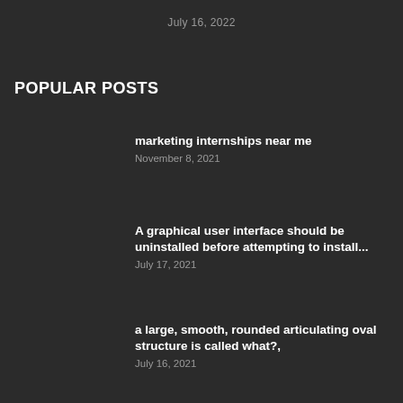July 16, 2022
POPULAR POSTS
marketing internships near me
November 8, 2021
A graphical user interface should be uninstalled before attempting to install...
July 17, 2021
a large, smooth, rounded articulating oval structure is called what?,
July 16, 2021